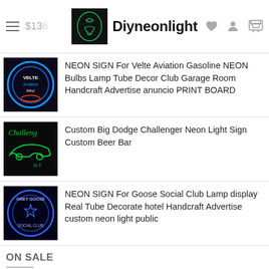Diyneonlight — navigation bar with hamburger menu, logo, heart, user, and cart icons
Commercial Iconic Sign Neon Bulbs lights
[Figure (photo): Neon sign product thumbnail: Velte Aviation Gasoline neon sign, blue circular neon light on black background]
NEON SIGN For Velte Aviation Gasoline NEON Bulbs Lamp Tube Decor Club Garage Room Handcraft Advertise anuncio PRINT BOARD
[Figure (photo): Custom Big Dodge Challenger neon sign thumbnail, green neon car outline on black background]
Custom Big Dodge Challenger Neon Light Sign Custom Beer Bar
[Figure (photo): Grey Goose Social Club neon sign thumbnail, blue circular neon text and star on dark background]
NEON SIGN For Goose Social Club Lamp display Real Tube Decorate hotel Handcraft Advertise custom neon light public
ON SALE
[Figure (photo): Tiki Bar Parrot neon sign thumbnail, colorful parrot neon light on black background with TIKI BAR text]
Neon Sign for Tiki Bar Parrot Neon Bulb sign handcraft Real tube Game Room windows Dropshipping neon bar lights Home